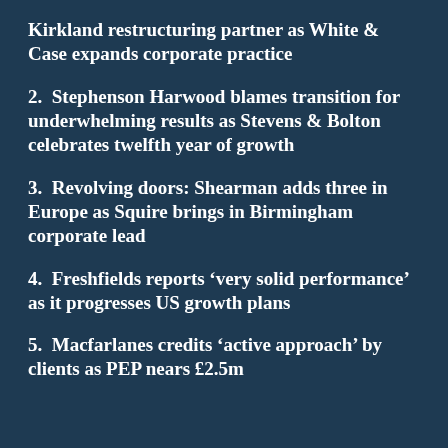Kirkland restructuring partner as White & Case expands corporate practice
2.  Stephenson Harwood blames transition for underwhelming results as Stevens & Bolton celebrates twelfth year of growth
3.  Revolving doors: Shearman adds three in Europe as Squire brings in Birmingham corporate lead
4.  Freshfields reports ‘very solid performance’ as it progresses US growth plans
5.  Macfarlanes credits ‘active approach’ by clients as PEP nears £2.5m